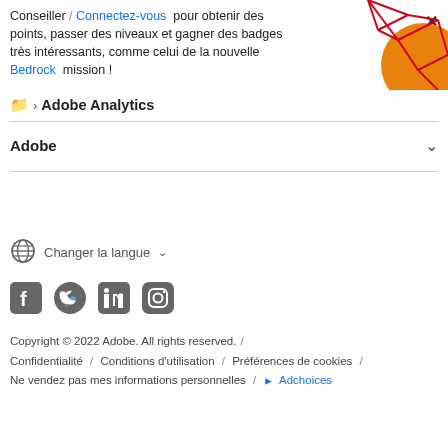Conseiller / Connectez-vous pour obtenir des points, passer des niveaux et gagner des badges très intéressants, comme celui de la nouvelle Bedrock mission !
[Figure (illustration): Abstract geometric red lines on an orange circle background, decorative graphic in top right corner]
Adobe Analytics (breadcrumb)
Adobe (collapsible section with chevron)
Changer la langue ∨
[Figure (illustration): Social media icons: Facebook, Twitter, LinkedIn, Instagram in grey]
Copyright © 2022 Adobe. All rights reserved. / Confidentialité / Conditions d'utilisation / Préférences de cookies / Ne vendez pas mes informations personnelles / Adchoices